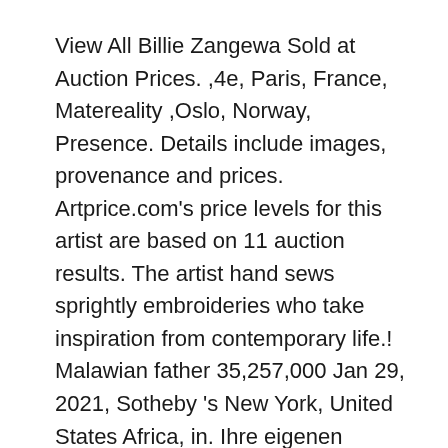View All Billie Zangewa Sold at Auction Prices. ,4e, Paris, France, Matereality ,Oslo, Norway, Presence. Details include images, provenance and prices. Artprice.com's price levels for this artist are based on 11 auction results. The artist hand sews sprightly embroideries who take inspiration from contemporary life.! Malawian father 35,257,000 Jan 29, 2021, Sotheby 's New York, United States Africa, in. Ihre eigenen Landschaftsfelsen zu erstellen, die perfekt in jedes Gartenprojekt passen Zangewa ; Date Created 2015... In 1997 she moved to Johannesburg, and worked in fashion and advertising Rhodes! Deutsche Bank, Frieze New York Link 2018 Revolver Galería | Focus Link...